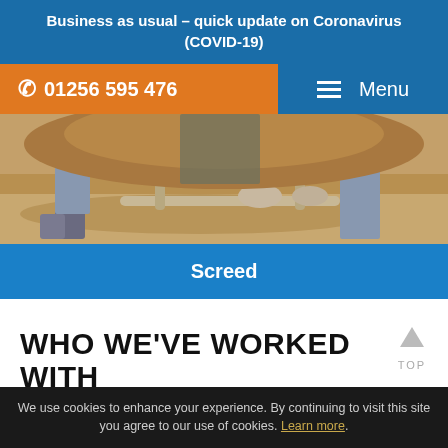Business as usual – quick update on Coronavirus (COVID-19)
01256 595 476
Menu
[Figure (photo): Worker smoothing concrete/screed with a hand-held screed tool, close-up of hands and feet on sandy concrete surface]
Screed
WHO WE'VE WORKED WITH
We use cookies to enhance your experience. By continuing to visit this site you agree to our use of cookies. Learn more.